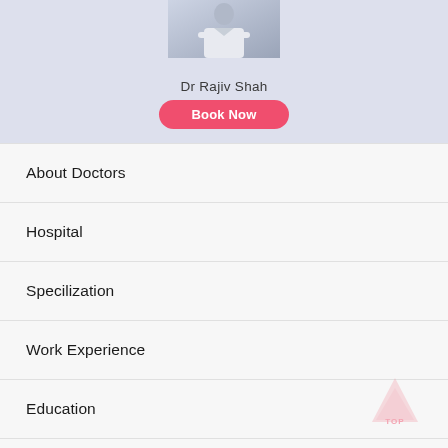[Figure (photo): Photo of Dr Rajiv Shah, a doctor in white coat with arms crossed]
Dr Rajiv Shah
Book Now
About Doctors
Hospital
Specilization
Work Experience
Education
Awards & Accomplishment